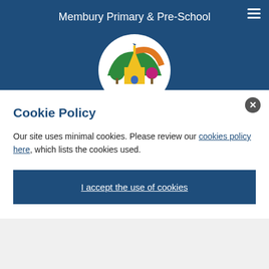Membury Primary & Pre-School
[Figure (logo): School logo showing a church building with colourful trees and a rainbow arc, inside a white oval on a dark blue background]
Cookie Policy
Our site uses minimal cookies. Please review our cookies policy here, which lists the cookies used.
I accept the use of cookies